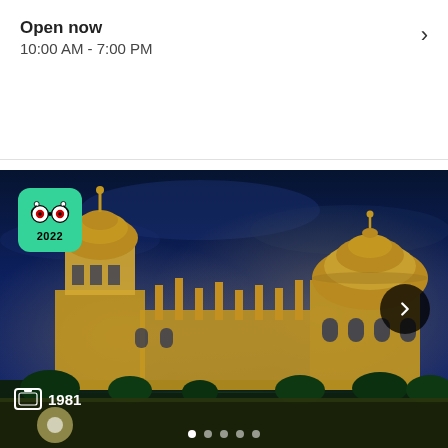Open now
10:00 AM - 7:00 PM
[Figure (photo): Night-time illuminated cathedral (likely Salamanca Cathedral) with two domes and a bell tower, against a deep blue sky. Includes a TripAdvisor 2022 badge overlay and a photo count of 1981. Navigation arrow and pagination dots visible.]